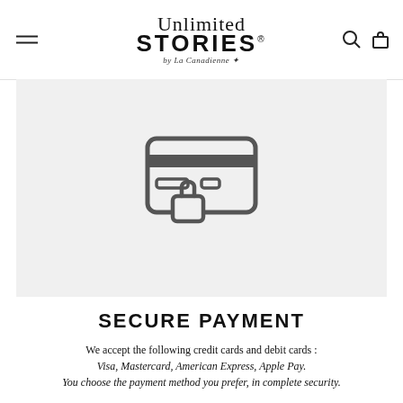Unlimited STORIES by La Canadienne
[Figure (illustration): Secure payment icon: a credit card with a padlock overlay, rendered in dark gray outline style on a light gray background]
SECURE PAYMENT
We accept the following credit cards and debit cards : Visa, Mastercard, American Express, Apple Pay. You choose the payment method you prefer, in complete security.